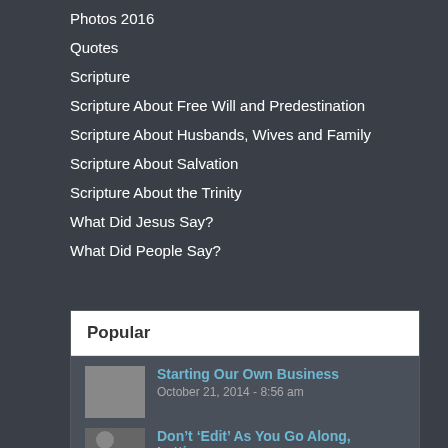Photos 2016
Quotes
Scripture
Scripture About Free Will and Predestination
Scripture About Husbands, Wives and Family
Scripture About Salvation
Scripture About the Trinity
What Did Jesus Say?
What Did People Say?
Popular
Starting Our Own Business
October 21, 2014 - 8:56 am
Don’t ‘Edit’ As You Go Along, Letting…